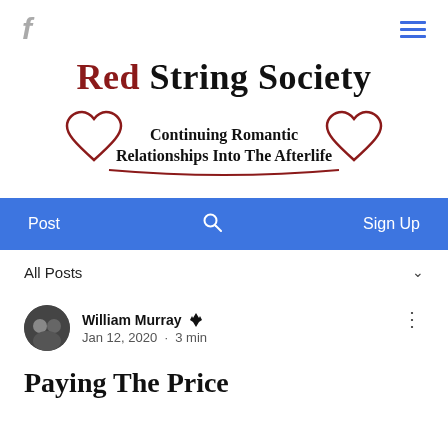f [Facebook icon] [hamburger menu]
Red String Society
[Figure (illustration): Two decorative outlined hearts flanking the tagline text, with a red curved underline beneath the text]
Continuing Romantic Relationships Into The Afterlife
Post  [search icon]  Sign Up
All Posts
William Murray [admin icon]
Jan 12, 2020 · 3 min
Paying The Price